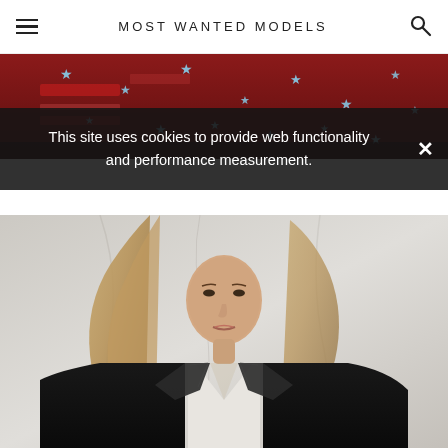MOST WANTED MODELS
[Figure (photo): Close-up of red fabric/garment with American flag motif — stars and stripes pattern in red, white, and blue]
This site uses cookies to provide web functionality and performance measurement.
[Figure (photo): Fashion photo of a young woman with long wavy blonde-brown hair lying on a white backdrop, wearing a black velvet blazer with satin lapels over a white V-neck top]